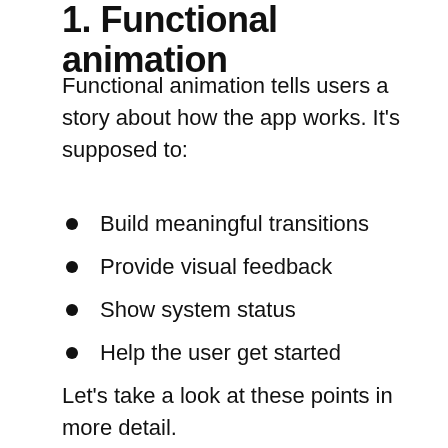1. Functional animation
Functional animation tells users a story about how the app works. It's supposed to:
Build meaningful transitions
Provide visual feedback
Show system status
Help the user get started
Let's take a look at these points in more detail.
A. Build meaningful transitions
Transitioning between two visual states should